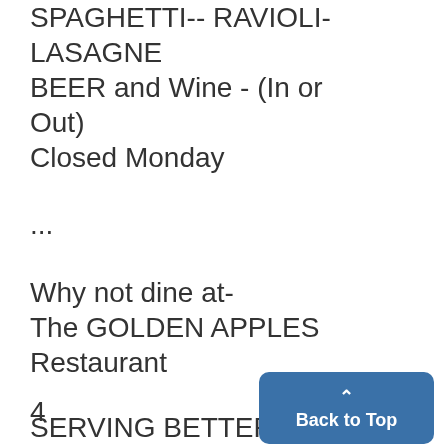SPAGHETTI-- RAVIOLI-LASAGNE
BEER and Wine - (In or Out)
Closed Monday
...
Why not dine at-
The GOLDEN APPLES
Restaurant
SERVING BETTER DINNERS FOR LESS
Serving Dinner: 5:00-7:15 Daily
4